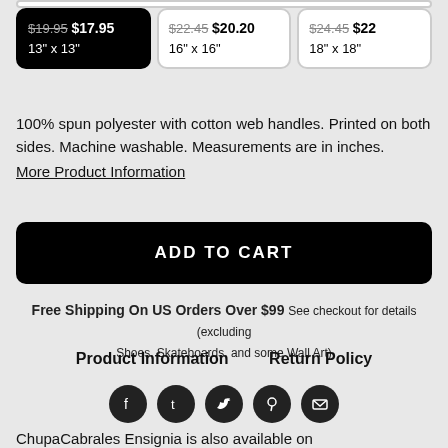| Size 1 | Size 2 | Size 3 |
| --- | --- | --- |
| $19.95 $17.95 / 13" x 13" | $22.45 $20.20 / 16" x 16" | $24.45 $22 / 18" x 18" |
100% spun polyester with cotton web handles. Printed on both sides. Machine washable. Measurements are in inches.
More Product Information
ADD TO CART
Free Shipping On US Orders Over $99 See checkout for details (excluding Shoes, Skateboards, and some Wall Art)
Product Information    Return Policy
[Figure (infographic): Row of 5 social media icon circles: Facebook, Tumblr, Twitter, Pinterest, Email]
ChupaCabrales Ensignia is also available on